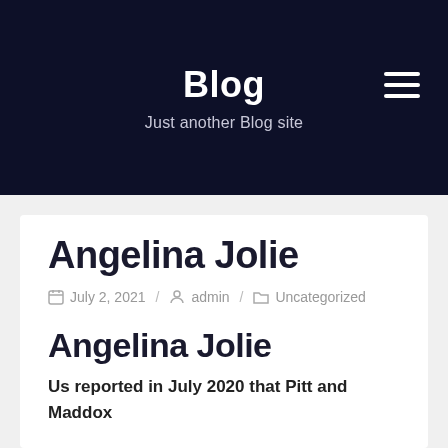Blog
Just another Blog site
Angelina Jolie
July 2, 2021 / admin / Uncategorized
Angelina Jolie
Us reported in July 2020 that Pitt and Maddox